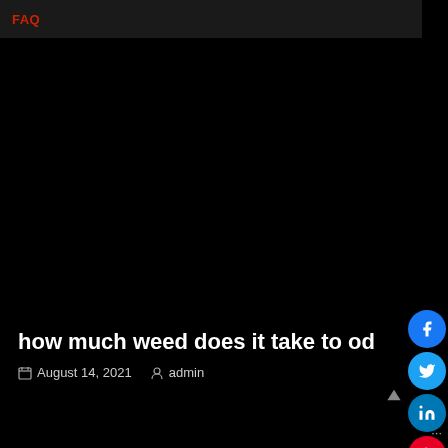FAQ
[Figure (photo): Dark/black background hero image for article about weed overdose]
how much weed does it take to od
August 14, 2021  admin